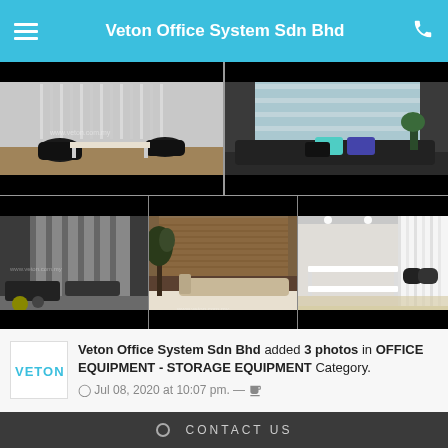Veton Office System Sdn Bhd
[Figure (photo): Grid of 5 interior office/window blinds photos arranged in 2 rows: top row has 2 large photos, bottom row has 3 smaller photos. All photos show office interiors with window blinds/curtains.]
Veton Office System Sdn Bhd added 3 photos in OFFICE EQUIPMENT - STORAGE EQUIPMENT Category.
Jul 08, 2020 at 10:07 pm.
CONTACT US